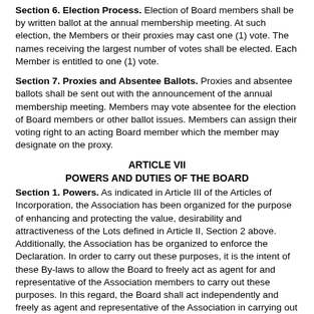Section 6. Election Process. Election of Board members shall be by written ballot at the annual membership meeting. At such election, the Members or their proxies may cast one (1) vote. The names receiving the largest number of votes shall be elected. Each Member is entitled to one (1) vote.
Section 7. Proxies and Absentee Ballots. Proxies and absentee ballots shall be sent out with the announcement of the annual membership meeting. Members may vote absentee for the election of Board members or other ballot issues. Members can assign their voting right to an acting Board member which the member may designate on the proxy.
ARTICLE VII
POWERS AND DUTIES OF THE BOARD
Section 1. Powers. As indicated in Article III of the Articles of Incorporation, the Association has been organized for the purpose of enhancing and protecting the value, desirability and attractiveness of the Lots defined in Article II, Section 2 above. Additionally, the Association has be organized to enforce the Declaration. In order to carry out these purposes, it is the intent of these By-laws to allow the Board to freely act as agent for and representative of the Association members to carry out these purposes. In this regard, the Board shall act independently and freely as agent and representative of the Association in carrying out the powers listed below. Therefore, unless specifically constrained by the Articles of Incorporation, these By-laws, or the Declaration, the Board shall act as it deems necessary in any manner that fulfills the purposes stated in Article III of the Articles of Incorporation. The Board shall have the